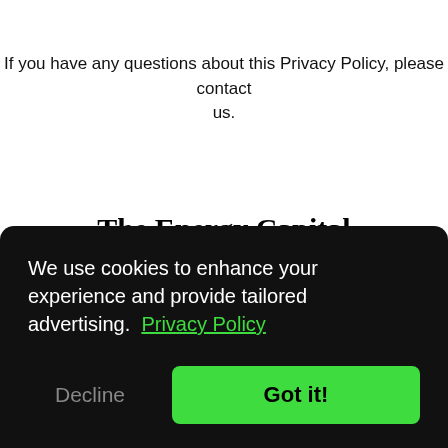If you have any questions about this Privacy Policy, please contact us.
The Energy Capital Investments (EnergyCapitalInvestments.com) Detailed Privacy Policy
1.    What's in this policy?
This policy tells you:
We use cookies to enhance your experience and provide tailored advertising.  Privacy Policy
Decline    Got it!